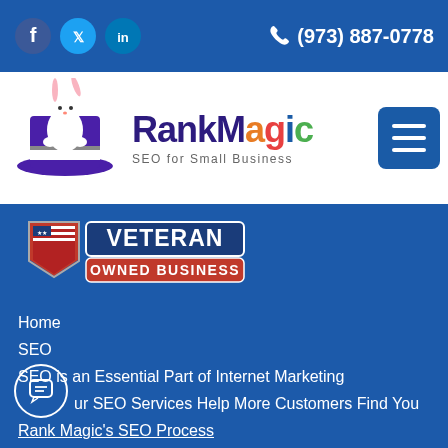[Figure (logo): Social media icons: Facebook (blue circle), Twitter (cyan circle), LinkedIn (blue circle)]
(973) 887-0778
[Figure (logo): RankMagic logo with rabbit in magician hat, text 'RankMagic SEO for Small Business']
[Figure (logo): Veteran Owned Business badge with US flag shield]
Home
SEO
SEO is an Essential Part of Internet Marketing
Our SEO Services Help More Customers Find You
Rank Magic's SEO Process